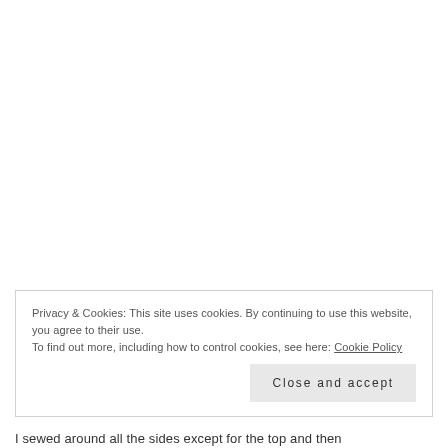Privacy & Cookies: This site uses cookies. By continuing to use this website, you agree to their use.
To find out more, including how to control cookies, see here: Cookie Policy
Close and accept
I sewed around all the sides except for the top and then